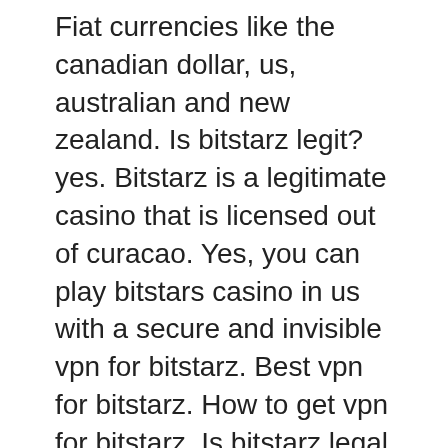Fiat currencies like the canadian dollar, us, australian and new zealand. Is bitstarz legit? yes. Bitstarz is a legitimate casino that is licensed out of curacao. Yes, you can play bitstars casino in us with a secure and invisible vpn for bitstarz. Best vpn for bitstarz. How to get vpn for bitstarz. Is bitstarz legal in us. Bitstarz review | bitcoin/crypto for payments. Safe &amp; reputable | pros &amp; cons for or against bitstarz in 2020. Join us as we take an in-depth look at bitstarz. Check your local laws to ensure online gambling is available and legal where you live At the moment, bitstarz is available in most countries, especially within the eu, but not to players in the usa or uk. Bitstarz crypto casino has 3000+ online games to play using btc. Having an authoritative regulator is a key factor that makes us believe that an online. K; france; netherlands; spain. Players from the above-mentioned countries are not allowed to play